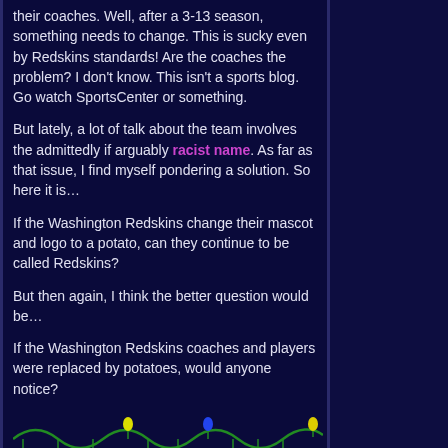their coaches. Well, after a 3-13 season, something needs to change. This is sucky even by Redskins standards! Are the coaches the problem? I don't know. This isn't a sports blog. Go watch SportsCenter or something.
But lately, a lot of talk about the team involves the admittedly if arguably racist name. As far as that issue, I find myself pondering a solution. So here it is…
If the Washington Redskins change their mascot and logo to a potato, can they continue to be called Redskins?
But then again, I think the better question would be…
If the Washington Redskins coaches and players were replaced by potatoes, would anyone notice?
[Figure (illustration): Decorative Christmas lights divider: a green wavy string with colored bulbs (green, blue, red, yellow, orange, purple) hanging from it]
December 15, 2013